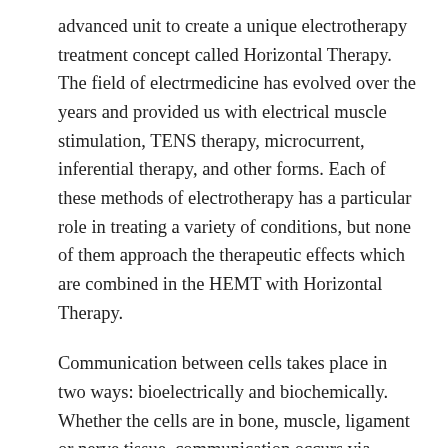advanced unit to create a unique electrotherapy treatment concept called Horizontal Therapy. The field of electrmedicine has evolved over the years and provided us with electrical muscle stimulation, TENS therapy, microcurrent, inferential therapy, and other forms. Each of these methods of electrotherapy has a particular role in treating a variety of conditions, but none of them approach the therapeutic effects which are combined in the HEMT with Horizontal Therapy.
Communication between cells takes place in two ways: bioelectrically and biochemically. Whether the cells are in bone, muscle, ligament or nerve tissue, communication occurs via electrical currents and chemical messengers. When cellular communication is impaired, pain and disease occur, so that the normal functional state is lost. This causes a further breakdown in cellular